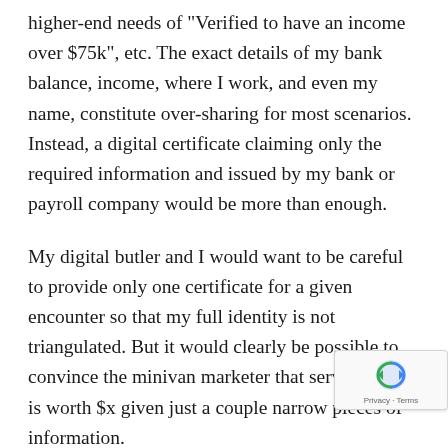higher-end needs of "Verified to have an income over $75k", etc. The exact details of my bank balance, income, where I work, and even my name, constitute over-sharing for most scenarios. Instead, a digital certificate claiming only the required information and issued by my bank or payroll company would be more than enough.
My digital butler and I would want to be careful to provide only one certificate for a given encounter so that my full identity is not triangulated. But it would clearly be possible to convince the minivan marketer that serving an ad is worth $x given just a couple narrow pieces of information.
For low-stakes scenarios and during the early adop